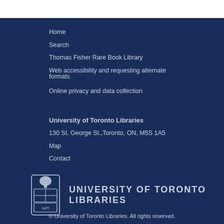Home
Search
Thomas Fisher Rare Book Library
Web accessibility and requesting alternate formats
Online privacy and data collection
University of Toronto Libraries
130 St. George St.,Toronto, ON, M5S 1A5
Map
Contact
[Figure (logo): University of Toronto Libraries logo with crest and text UNIVERSITY OF TORONTO LIBRARIES]
© University of Toronto Libraries. All rights reserved.